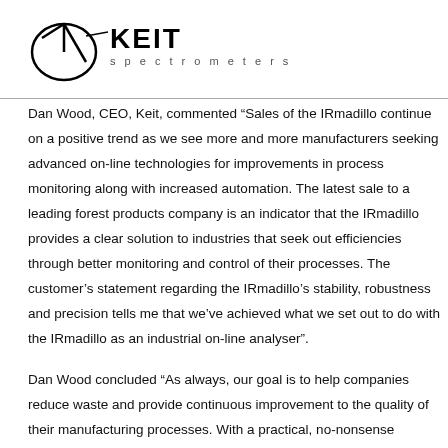KEIT spectrometers
Dan Wood, CEO, Keit, commented “Sales of the IRmadillo continue on a positive trend as we see more and more manufacturers seeking advanced on-line technologies for improvements in process monitoring along with increased automation. The latest sale to a leading forest products company is an indicator that the IRmadillo provides a clear solution to industries that seek out efficiencies through better monitoring and control of their processes. The customer's statement regarding the IRmadillo’s stability, robustness and precision tells me that we’ve achieved what we set out to do with the IRmadillo as an industrial on-line analyser”.
Dan Wood concluded “As always, our goal is to help companies reduce waste and provide continuous improvement to the quality of their manufacturing processes. With a practical, no-nonsense